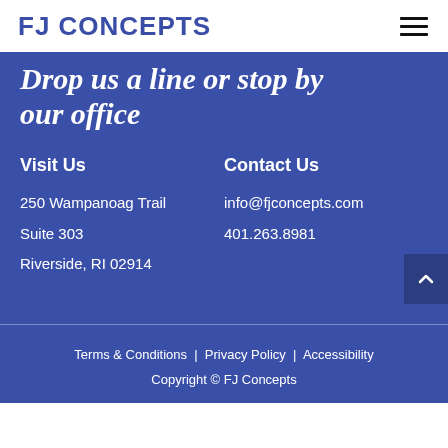FJ CONCEPTS
Drop us a line or stop by our office
Visit Us
250 Wampanoag Trail
Suite 303
Riverside, RI 02914
Contact Us
info@fjconcepts.com
401.263.8981
Terms & Conditions | Privacy Policy | Accessibility
Copyright © FJ Concepts